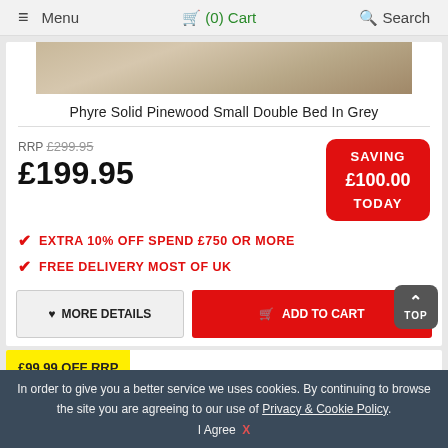≡ Menu   🛒 (0) Cart   🔍 Search
[Figure (photo): Product image strip of a grey pinewood bed, showing the wooden headboard texture]
Phyre Solid Pinewood Small Double Bed In Grey
RRP £299.95
£199.95
SAVING £100.00 TODAY
✔ EXTRA 10% OFF SPEND £750 OR MORE
✔ FREE DELIVERY MOST OF UK
♥ MORE DETAILS   🛒 ADD TO CART
[Figure (screenshot): Partial view of second product card with yellow OFF RRP badge]
In order to give you a better service we uses cookies. By continuing to browse the site you are agreeing to our use of Privacy & Cookie Policy.
I Agree  X